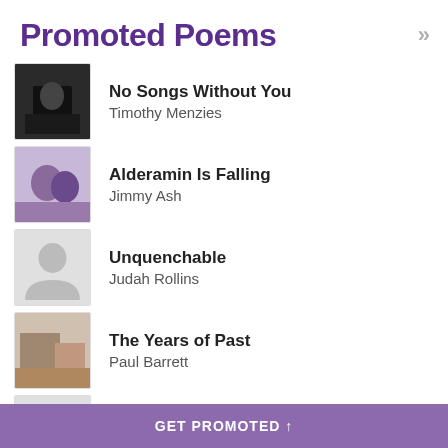Promoted Poems
No Songs Without You — Timothy Menzies
Alderamin Is Falling — Jimmy Ash
Unquenchable — Judah Rollins
The Years of Past — Paul Barrett
The Truth About Santa — Don Stephens
Tales of the Peregrine P... — Jennifer Ames (Pierro)
Look What's Taking Place — BrotherJacob
GET PROMOTED